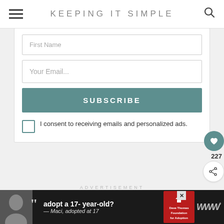KEEPING IT SIMPLE
First Name
Your Email...
SUBSCRIBE
I consent to receiving emails and personalized ads.
227
ADVERTISEMENT
WHAT'S NEXT → Ricotta Meatballs wi...
[Figure (infographic): Bottom advertisement banner: adopt a 17-year-old? — Maci, adopted at 17. Dave Thomas Foundation for Adoption.]